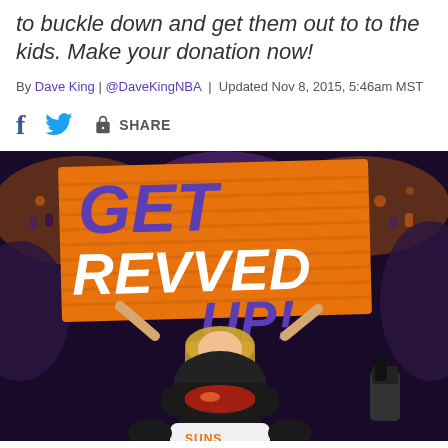to buckle down and get them out to to the kids. Make your donation now!
By Dave King | @DaveKingNBA | Updated Nov 8, 2015, 5:46am MST
[Figure (photo): Phoenix Suns mascot (gorilla in helmet) with cheerleader holding orange sign reading 'GET REVVED UP!' in purple and white lettering, at an NBA arena with crowd in background]